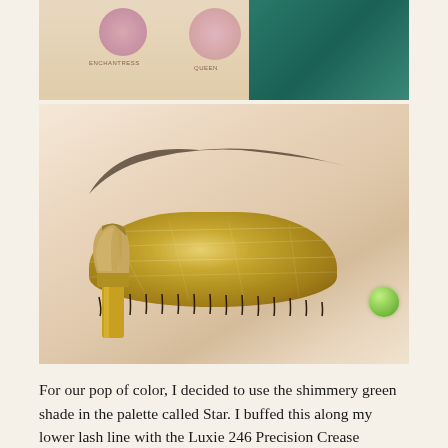[Figure (photo): Close-up photo of a makeup palette with circular eyeshadow pans labeled ENCHANTRESS, QUEEN, and STAR, with a person wearing a teal top visible behind it. Below is a close-up of a closed eye with gold shimmer eyeshadow applied to the lid, with a makeup brush being applied at the lower lash line and a green glitter gem visible in the lower right corner.]
For our pop of color, I decided to use the shimmery green shade in the palette called Star. I buffed this along my lower lash line with the Luxie 246 Precision Crease